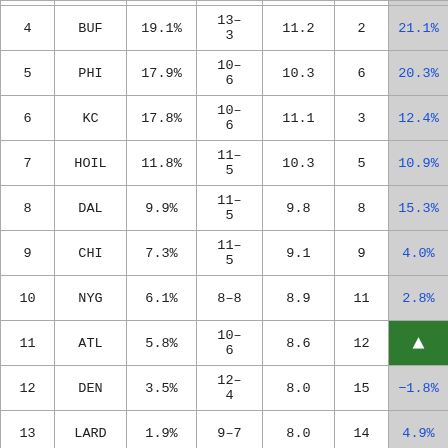| Rank | Team | % | W-L | Pts | Prev | Chg |
| --- | --- | --- | --- | --- | --- | --- |
| 4 | BUF | 19.1% | 13-3 | 11.2 | 2 | 21.1% |
| 5 | PHI | 17.9% | 10-6 | 10.3 | 6 | 20.3% |
| 6 | KC | 17.8% | 10-6 | 11.1 | 3 | 12.4% |
| 7 | HOIL | 11.8% | 11-5 | 10.3 | 5 | 10.9% |
| 8 | DAL | 9.9% | 11-5 | 9.8 | 8 | 15.3% |
| 9 | CHI | 7.3% | 11-5 | 9.1 | 9 | 4.0% |
| 10 | NYG | 6.1% | 8-8 | 8.9 | 11 | 2.8% |
| 11 | ATL | 5.8% | 10-6 | 8.6 | 12 |  |
| 12 | DEN | 3.5% | 12-4 | 8.0 | 15 | -1.8% |
| 13 | LARD | 1.9% | 9-7 | 8.0 | 14 | 4.9% |